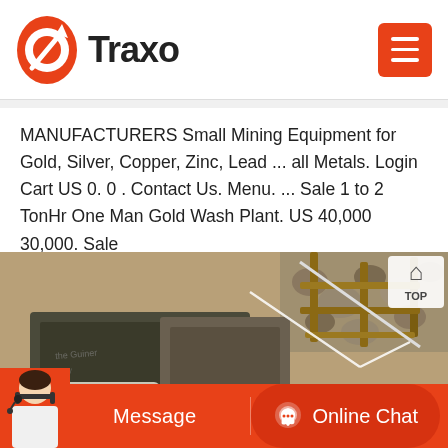Traxo
MANUFACTURERS Small Mining Equipment for Gold, Silver, Copper, Zinc, Lead ... all Metals. Login Cart US 0. 0 . Contact Us. Menu. ... Sale 1 to 2 TonHr One Man Gold Wash Plant. US 40,000 30,000. Sale
[Figure (photo): Overhead view of small-scale gold mining wash plant equipment showing metal sluice boxes, wooden frames, a white pump with flanged pipe, and rocky gravel ground.]
Message   Online Chat